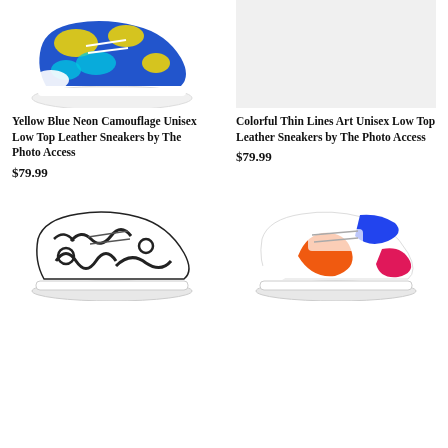[Figure (photo): Yellow Blue Neon Camouflage sneaker, low top leather, colorful camo pattern]
Yellow Blue Neon Camouflage Unisex Low Top Leather Sneakers by The Photo Access
$79.99
[Figure (photo): Colorful Thin Lines Art sneaker placeholder image, light gray background]
Colorful Thin Lines Art Unisex Low Top Leather Sneakers by The Photo Access
$79.99
[Figure (photo): Black and white abstract line art sneaker, low top leather]
[Figure (photo): Blue orange pink colorful abstract shapes sneaker, low top leather]